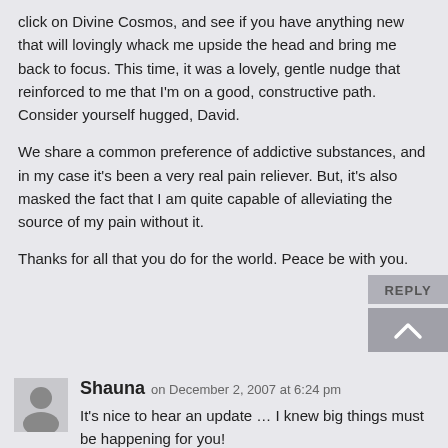click on Divine Cosmos, and see if you have anything new that will lovingly whack me upside the head and bring me back to focus. This time, it was a lovely, gentle nudge that reinforced to me that I'm on a good, constructive path. Consider yourself hugged, David.
We share a common preference of addictive substances, and in my case it's been a very real pain reliever. But, it's also masked the fact that I am quite capable of alleviating the source of my pain without it.
Thanks for all that you do for the world. Peace be with you.
REPLY
Shauna on December 2, 2007 at 6:24 pm
It's nice to hear an update … I knew big things must be happening for you!
8)